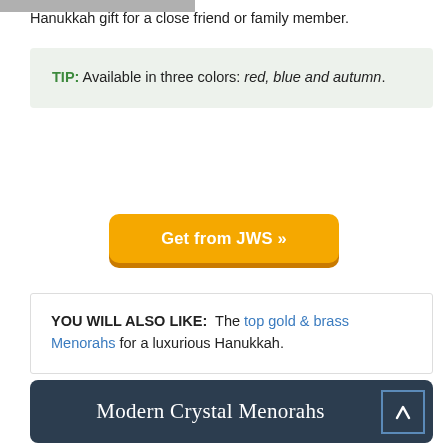Hanukkah gift for a close friend or family member.
TIP: Available in three colors: red, blue and autumn.
Get from JWS »
YOU WILL ALSO LIKE: The top gold & brass Menorahs for a luxurious Hanukkah.
Modern Crystal Menorahs
We already had silver and gold Menorahs.